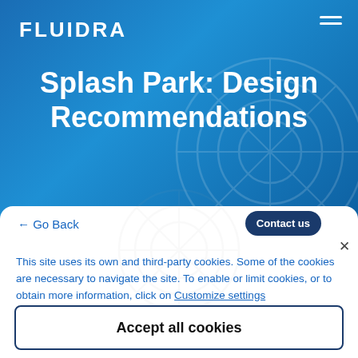FLUIDRA
Splash Park: Design Recommendations
← Go Back
Contact us
This site uses its own and third-party cookies. Some of the cookies are necessary to navigate the site. To enable or limit cookies, or to obtain more information, click on Customize settings
Accept all cookies